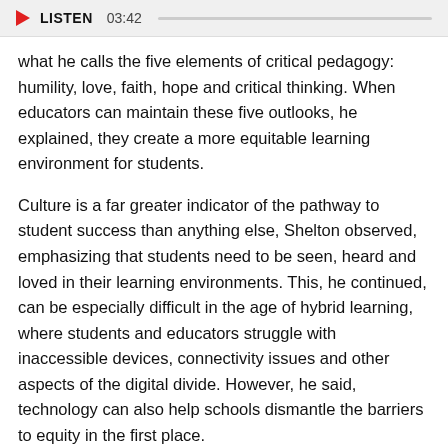LISTEN 03:42
what he calls the five elements of critical pedagogy: humility, love, faith, hope and critical thinking. When educators can maintain these five outlooks, he explained, they create a more equitable learning environment for students.
Culture is a far greater indicator of the pathway to student success than anything else, Shelton observed, emphasizing that students need to be seen, heard and loved in their learning environments. This, he continued, can be especially difficult in the age of hybrid learning, where students and educators struggle with inaccessible devices, connectivity issues and other aspects of the digital divide. However, he said, technology can also help schools dismantle the barriers to equity in the first place.
EdTech is covering CoSN2021, so keep this page bookmarked for our ongoing coverage.